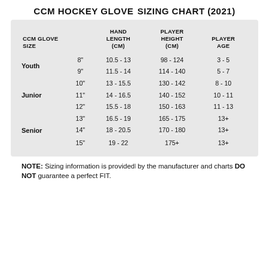CCM HOCKEY GLOVE SIZING CHART (2021)
| CCM GLOVE SIZE |  | HAND LENGTH (CM) | PLAYER HEIGHT (CM) | PLAYER AGE |
| --- | --- | --- | --- | --- |
| Youth | 8" | 10.5 - 13 | 98 - 124 | 3 - 5 |
|  | 9" | 11.5 - 14 | 114 - 140 | 5 - 7 |
|  | 10" | 13 - 15.5 | 130 - 142 | 8 - 10 |
| Junior | 11" | 14 - 16.5 | 140 - 152 | 10 - 11 |
|  | 12" | 15.5 - 18 | 150 - 163 | 11 - 13 |
|  | 13" | 16.5 - 19 | 165 - 175 | 13+ |
| Senior | 14" | 18 - 20.5 | 170 - 180 | 13+ |
|  | 15" | 19 - 22 | 175+ | 13+ |
NOTE: Sizing information is provided by the manufacturer and charts DO NOT guarantee a perfect FIT.